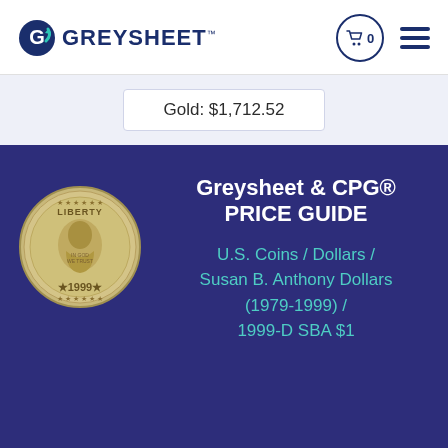[Figure (logo): Greysheet logo with G arrow icon and GREYSHEET wordmark in dark navy blue]
Gold: $1,712.52
Greysheet & CPG® PRICE GUIDE
U.S. Coins / Dollars / Susan B. Anthony Dollars (1979-1999) / 1999-D SBA $1
[Figure (photo): Silver 1999 Susan B. Anthony dollar coin showing Liberty portrait and 1999 date]